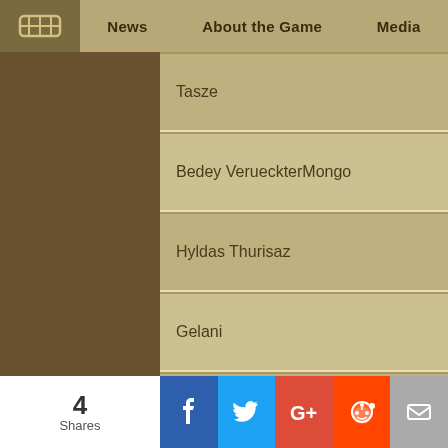News | About the Game | Media
Tasze
Bedey VerueckterMongo
Hyldas Thurisaz
Gelani
Qqzz RandomPac
Obani Yeehaaaaaaaaaaaaaaaa
Rhoyx
Abctap
4 Shares | Facebook | Twitter | G+ | Reddit | Email